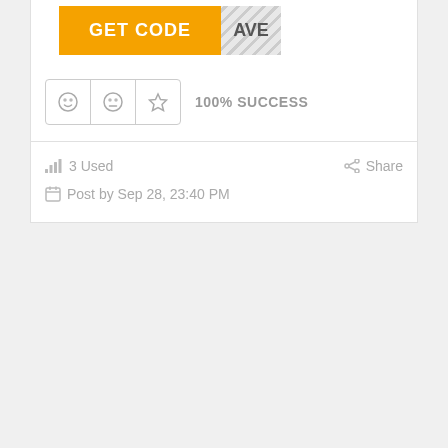[Figure (screenshot): Orange GET CODE button with striped AVE pattern on the right side]
100% SUCCESS
3 Used
Share
Post by Sep 28, 23:40 PM